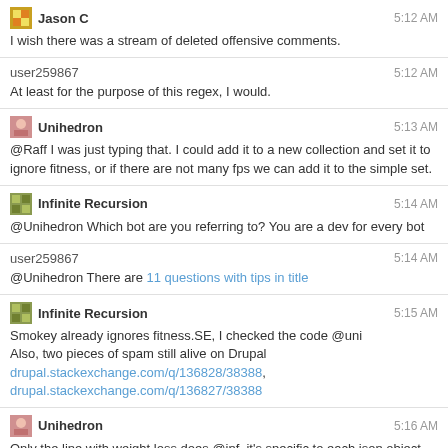Jason C  5:12 AM
I wish there was a stream of deleted offensive comments.
user259867  5:12 AM
At least for the purpose of this regex, I would.
Unihedron  5:13 AM
@Raff I was just typing that. I could add it to a new collection and set it to ignore fitness, or if there are not many fps we can add it to the simple set.
Infinite Recursion  5:14 AM
@Unihedron Which bot are you referring to? You are a dev for every bot
user259867  5:14 AM
@Unihedron There are 11 questions with tips in title
Infinite Recursion  5:15 AM
Smokey already ignores fitness.SE, I checked the code @uni
Also, two pieces of spam still alive on Drupal
drupal.stackexchange.com/q/136828/38388,
drupal.stackexchange.com/q/136827/38388
Unihedron  5:16 AM
Only the line with weight loss does @inf, it's specific to each json object keyvaluepair entry.
Infinite Recursion  5:17 AM
Yes, I saw that @uni